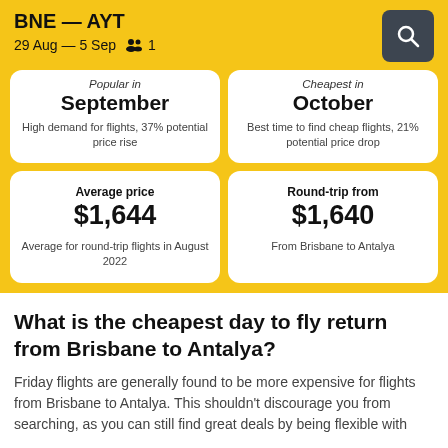BNE — AYT
29 Aug — 5 Sep  1
Popular in
September
High demand for flights, 37% potential price rise
Cheapest in
October
Best time to find cheap flights, 21% potential price drop
Average price
$1,644
Average for round-trip flights in August 2022
Round-trip from
$1,640
From Brisbane to Antalya
What is the cheapest day to fly return from Brisbane to Antalya?
Friday flights are generally found to be more expensive for flights from Brisbane to Antalya. This shouldn't discourage you from searching, as you can still find great deals by being flexible with